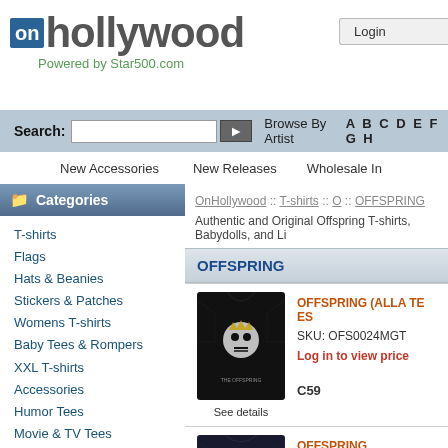[Figure (logo): OnHollywood logo with 'on' in blue box and 'hollywood' in large text, tagline 'Powered by Star500.com']
Login
Search: [input box] > Browse By Artist A B C D E F G H
New Accessories    New Releases    Wholesale In...
Categories
T-shirts
Flags
Hats & Beanies
Stickers & Patches
Womens T-shirts
Baby Tees & Rompers
XXL T-shirts
Accessories
Humor Tees
Movie & TV Tees
Novelty Items
Superhero Tees
New Accessories
Best Sellers
Clearance
New Releases
MILES DAVIS (1970 CIRCLE)
OnHollywood :: T-shirts :: O :: OFFSPRING
Authentic and Original Offspring T-shirts, Babydolls, and L...
OFFSPRING
[Figure (photo): Black t-shirt with The Offspring skull graphic]
See details
OFFSPRING (ALLA TE ES...
SKU: OFS0024MGT
Log in to view price
C59
[Figure (photo): Dark t-shirt with Offspring Americana graphic]
OFFSPRING (AMERICANA...
SKU: OFS0031MGT